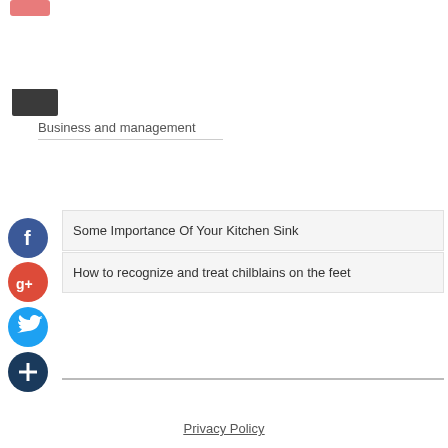[Figure (other): Pink rounded button at top left]
[Figure (other): Dark folder open icon]
Business and management
[Figure (other): Facebook social share button (blue circle with 'f')]
Some Importance Of Your Kitchen Sink
[Figure (other): Google+ social share button (red circle with 'g+')]
How to recognize and treat chilblains on the feet
[Figure (other): Twitter social share button (blue circle with bird icon)]
[Figure (other): Plus/add social share button (dark blue circle with '+')]
Privacy Policy